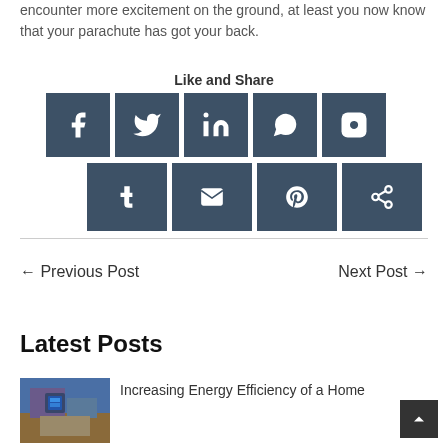encounter more excitement on the ground, at least you now know that your parachute has got your back.
Like and Share
[Figure (infographic): Social media sharing buttons: Facebook, Twitter, LinkedIn, WhatsApp, Instagram (row 1); Tumblr, Email, Pinterest, Share (row 2)]
← Previous Post
Next Post →
Latest Posts
[Figure (photo): Smart home control tablet being held in front of a house]
Increasing Energy Efficiency of a Home